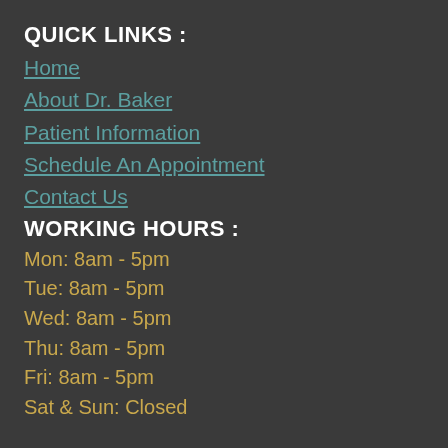QUICK LINKS :
Home
About Dr. Baker
Patient Information
Schedule An Appointment
Contact Us
WORKING HOURS :
Mon: 8am - 5pm
Tue: 8am - 5pm
Wed: 8am - 5pm
Thu: 8am - 5pm
Fri: 8am - 5pm
Sat & Sun: Closed